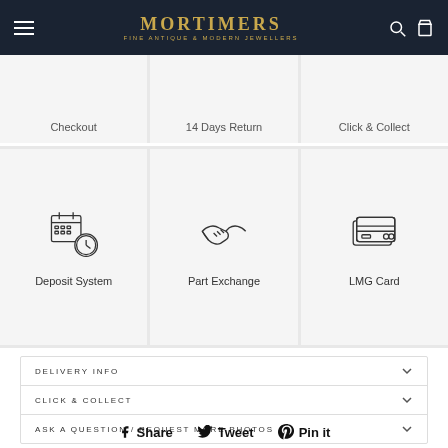MORTIMERS FINE ANTIQUE & MODERN JEWELLERS
Checkout
14 Days Return
Click & Collect
[Figure (illustration): Calendar with clock icon representing Deposit System]
Deposit System
[Figure (illustration): Handshake icon representing Part Exchange]
Part Exchange
[Figure (illustration): Credit card icon representing LMG Card]
LMG Card
DELIVERY INFO
CLICK & COLLECT
ASK A QUESTION / REQUEST MORE PHOTOS
Share  Tweet  Pin it